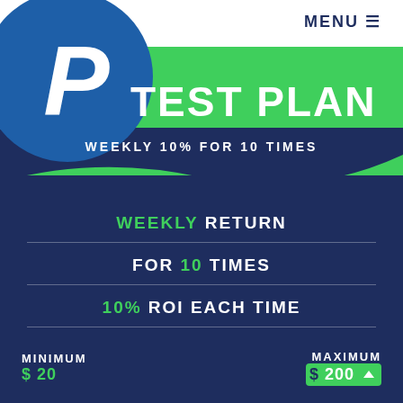MENU
[Figure (logo): PayPal-style P logo in blue circle]
TEST PLAN
WEEKLY 10% FOR 10 TIMES
WEEKLY RETURN
FOR 10 TIMES
10% ROI EACH TIME
MINIMUM $ 20
MAXIMUM $ 200